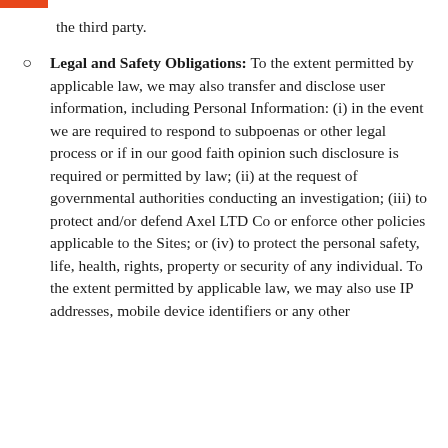the third party.
Legal and Safety Obligations: To the extent permitted by applicable law, we may also transfer and disclose user information, including Personal Information: (i) in the event we are required to respond to subpoenas or other legal process or if in our good faith opinion such disclosure is required or permitted by law; (ii) at the request of governmental authorities conducting an investigation; (iii) to protect and/or defend Axel LTD Co or enforce other policies applicable to the Sites; or (iv) to protect the personal safety, life, health, rights, property or security of any individual. To the extent permitted by applicable law, we may also use IP addresses, mobile device identifiers or any other
information you allow us to identify/platform...